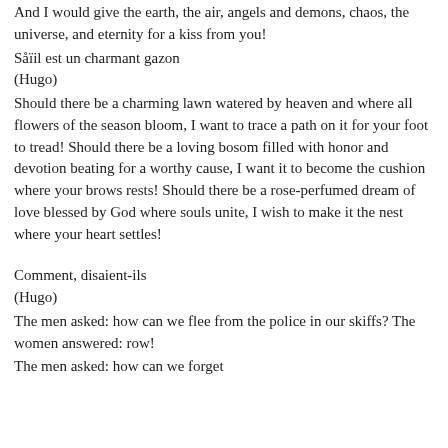And I would give the earth, the air, angels and demons, chaos, the universe, and eternity for a kiss from you!
Såïil est un charmant gazon
(Hugo)
Should there be a charming lawn watered by heaven and where all flowers of the season bloom, I want to trace a path on it for your foot to tread! Should there be a loving bosom filled with honor and devotion beating for a worthy cause, I want it to become the cushion where your brows rests! Should there be a rose-perfumed dream of love blessed by God where souls unite, I wish to make it the nest where your heart settles!
Comment, disaient-ils
(Hugo)
The men asked: how can we flee from the police in our skiffs? The women answered: row!
The men asked: how can we forget